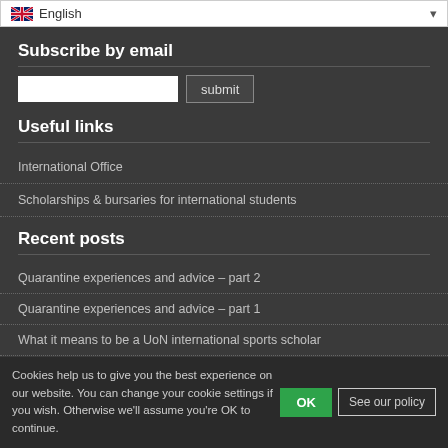[Figure (screenshot): Language selector dropdown showing English with UK flag]
Subscribe by email
[Figure (screenshot): Email input field and submit button]
Useful links
International Office
Scholarships & bursaries for international students
Recent posts
Quarantine experiences and advice – part 2
Quarantine experiences and advice – part 1
What it means to be a UoN international sports scholar
Celebrating 20 years of Developing Solutions
Cookies help us to give you the best experience on our website. You can change your cookie settings if you wish. Otherwise we'll assume you're OK to continue.